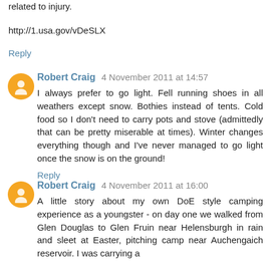related to injury.
http://1.usa.gov/vDeSLX
Reply
Robert Craig  4 November 2011 at 14:57
I always prefer to go light. Fell running shoes in all weathers except snow. Bothies instead of tents. Cold food so I don't need to carry pots and stove (admittedly that can be pretty miserable at times). Winter changes everything though and I've never managed to go light once the snow is on the ground!
Reply
Robert Craig  4 November 2011 at 16:00
A little story about my own DoE style camping experience as a youngster - on day one we walked from Glen Douglas to Glen Fruin near Helensburgh in rain and sleet at Easter, pitching camp near Auchengaich reservoir. I was carrying a